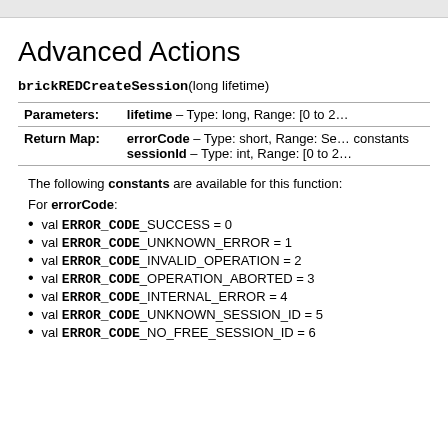Advanced Actions
brickREDCreateSession(long lifetime)
|  |  |
| --- | --- |
| Parameters: | lifetime – Type: long, Range: [0 to 2… |
| Return Map: | errorCode – Type: short, Range: Se… constants
sessionId – Type: int, Range: [0 to 2… |
The following constants are available for this function:
For errorCode:
val ERROR_CODE_SUCCESS = 0
val ERROR_CODE_UNKNOWN_ERROR = 1
val ERROR_CODE_INVALID_OPERATION = 2
val ERROR_CODE_OPERATION_ABORTED = 3
val ERROR_CODE_INTERNAL_ERROR = 4
val ERROR_CODE_UNKNOWN_SESSION_ID = 5
val ERROR_CODE_NO_FREE_SESSION_ID = 6